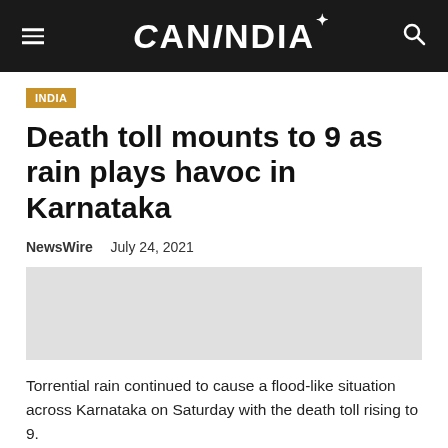CANINDIA
INDIA
Death toll mounts to 9 as rain plays havoc in Karnataka
NewsWire  July 24, 2021
Torrential rain continued to cause a flood-like situation across Karnataka on Saturday with the death toll rising to 9.
The continuous rain affected 12 districts of north Karnataka